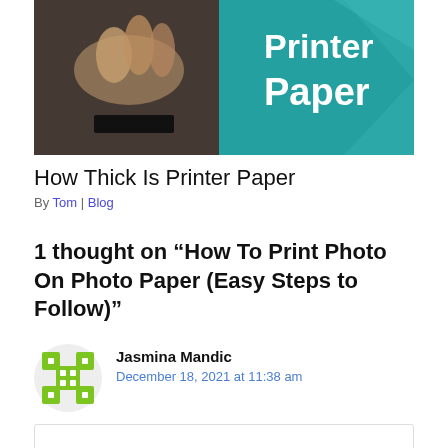[Figure (photo): Banner image showing hands near a printer with 'Printer Paper' text overlaid on a teal background]
How Thick Is Printer Paper
By Tom | Blog
1 thought on “How To Print Photo On Photo Paper (Easy Steps to Follow)”
Jasmina Mandic
December 18, 2021 at 11:38 am